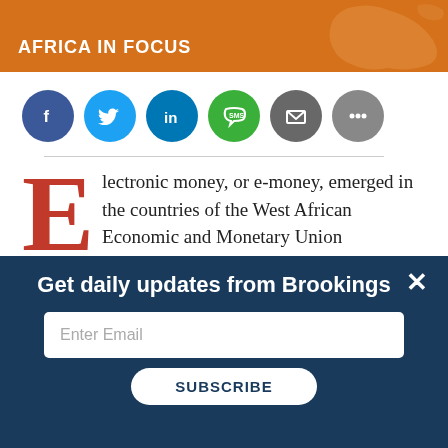AFRICA IN FOCUS
[Figure (illustration): Social sharing buttons row: Facebook (blue circle), Twitter (light blue circle), LinkedIn (dark blue circle), SMS (green circle), Email (dark gray circle), More (gray circle)]
Electronic money, or e-money, emerged in the countries of the West African Economic and Monetary Union (WAEMU) following
Get daily updates from Brookings
Enter Email
SUBSCRIBE